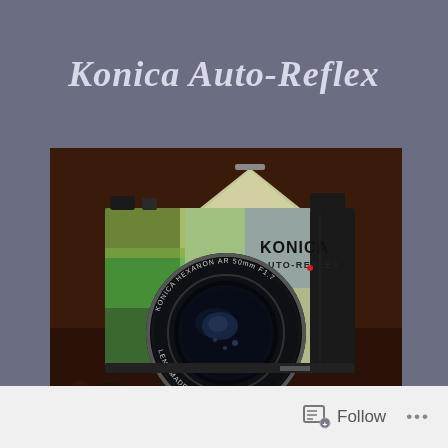Konica Auto-Reflex
[Figure (photo): Close-up photograph of a Konica Auto-Reflex 35mm SLR film camera with iridescent chrome body and Konica Hexanon AR 50mm F1.7 lens, displayed on a floral fabric surface with warm brown background]
Follow ...